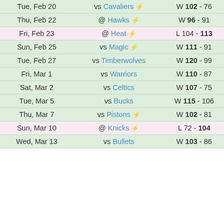| Date | Matchup | Result |
| --- | --- | --- |
| Tue, Feb 20 | vs Cavaliers ⚡ | W 102 - 76 |
| Thu, Feb 22 | @ Hawks ⚡ | W 96 - 91 |
| Fri, Feb 23 | @ Heat ⚡ | L 104 - 113 |
| Sun, Feb 25 | vs Magic ⚡ | W 111 - 91 |
| Tue, Feb 27 | vs Timberwolves | W 120 - 99 |
| Fri, Mar 1 | vs Warriors | W 110 - 87 |
| Sat, Mar 2 | vs Celtics | W 107 - 75 |
| Tue, Mar 5 | vs Bucks | W 115 - 106 |
| Thu, Mar 7 | vs Pistons ⚡ | W 102 - 81 |
| Sun, Mar 10 | @ Knicks ⚡ | L 72 - 104 |
| Wed, Mar 13 | vs Bullets | W 103 - 86 |